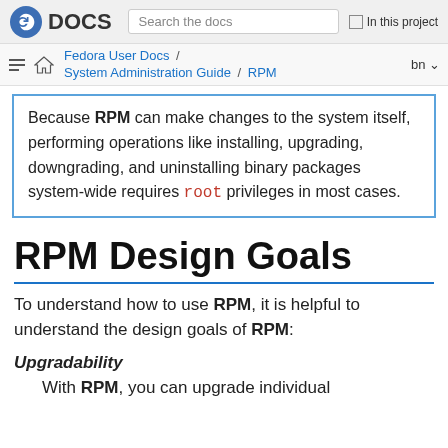Fedora DOCS — Search the docs — In this project
Fedora User Docs / System Administration Guide / RPM — bn
Because RPM can make changes to the system itself, performing operations like installing, upgrading, downgrading, and uninstalling binary packages system-wide requires root privileges in most cases.
RPM Design Goals
To understand how to use RPM, it is helpful to understand the design goals of RPM:
Upgradability
With RPM, you can upgrade individual